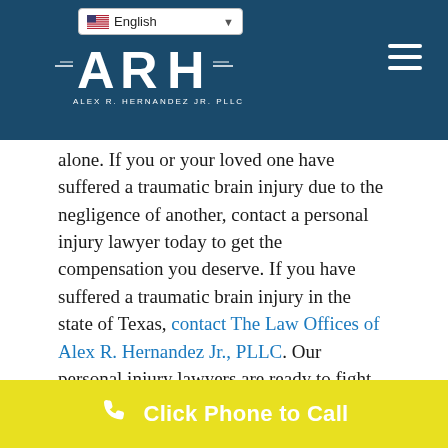[Figure (logo): Alex R. Hernandez Jr. PLLC law firm logo with ARH monogram on dark teal background, with English language selector dropdown and hamburger menu]
alone. If you or your loved one have suffered a traumatic brain injury due to the negligence of another, contact a personal injury lawyer today to get the compensation you deserve. If you have suffered a traumatic brain injury in the state of Texas, contact The Law Offices of Alex R. Hernandez Jr., PLLC. Our personal injury lawyers are ready to fight for you and explore all options to reduce your financial burden and get you the medical help you need. We'll make sure the
Click Phone to Call